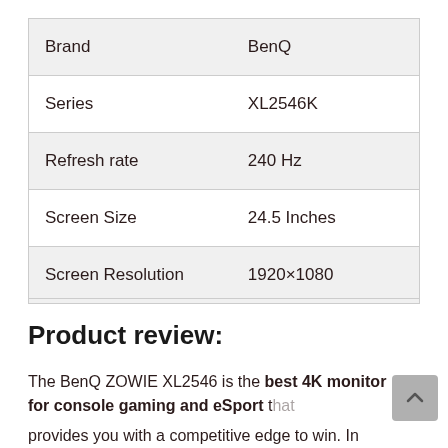|  |  |
| --- | --- |
| Brand | BenQ |
| Series | XL2546K |
| Refresh rate | 240 Hz |
| Screen Size | 24.5 Inches |
| Screen Resolution | 1920×1080 |
Product review:
The BenQ ZOWIE XL2546 is the best 4K monitor for console gaming and eSport that provides you with a competitive edge to win. In